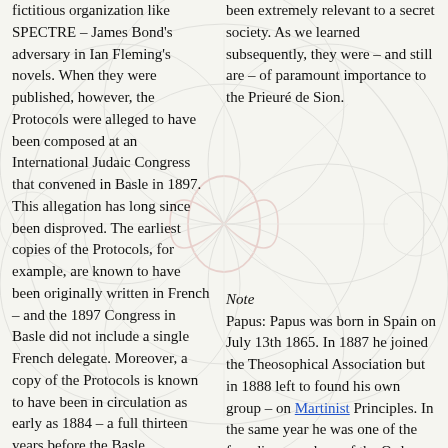fictitious organization like SPECTRE – James Bond's adversary in Ian Fleming's novels. When they were published, however, the Protocols were alleged to have been composed at an International Judaic Congress that convened in Basle in 1897. This allegation has long since been disproved. The earliest copies of the Protocols, for example, are known to have been originally written in French – and the 1897 Congress in Basle did not include a single French delegate. Moreover, a copy of the Protocols is known to have been in circulation as early as 1884 – a full thirteen years before the Basle conference met. The 1884 copy of the Protocols
[Figure (illustration): Geometric diagram showing interlocking circles forming a Flower of Life / Vesica Piscis pattern with a central teardrop/vesica shape highlighted in red/dark red, overlaid as a watermark behind the text columns.]
been extremely relevant to a secret society. As we learned subsequently, they were – and still are – of paramount importance to the Prieuré de Sion.
Note
Papus: Papus was born in Spain on July 13th 1865. In 1887 he joined the Theosophical Association but in 1888 left to found his own group – on Martinist Principles. In the same year he was one of the founding members of the Ordre Kabbalistic de la Rose-Croix along with Péladan and Stanislas de Guaïta. In 1889, together with these two and